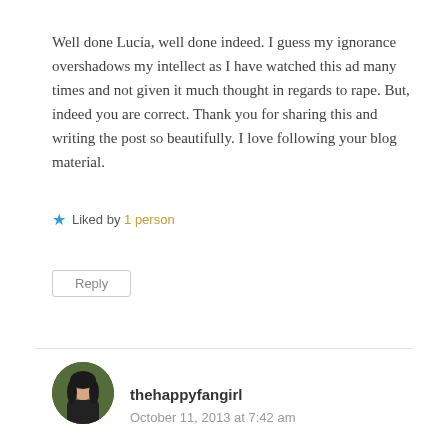Well done Lucia, well done indeed. I guess my ignorance overshadows my intellect as I have watched this ad many times and not given it much thought in regards to rape. But, indeed you are correct. Thank you for sharing this and writing the post so beautifully. I love following your blog material.
★ Liked by 1 person
Reply
[Figure (photo): Circular avatar photo of thehappyfangirl user]
thehappyfangirl
October 11, 2013 at 7:42 am